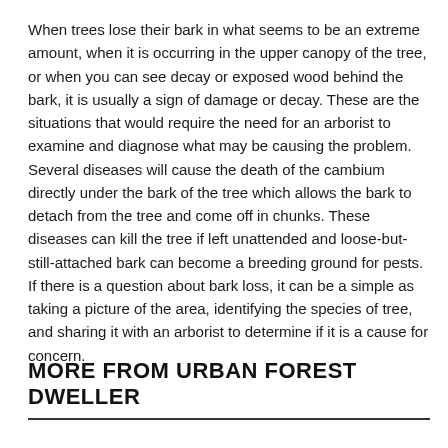When trees lose their bark in what seems to be an extreme amount, when it is occurring in the upper canopy of the tree, or when you can see decay or exposed wood behind the bark, it is usually a sign of damage or decay. These are the situations that would require the need for an arborist to examine and diagnose what may be causing the problem.  Several diseases will cause the death of the cambium directly under the bark of the tree which allows the bark to detach from the tree and come off in chunks. These diseases can kill the tree if left unattended and loose-but-still-attached bark can become a breeding ground for pests. If there is a question about bark loss, it can be a simple as taking a picture of the area, identifying the species of tree, and sharing it with an arborist to determine if it is a cause for concern.
MORE FROM URBAN FOREST DWELLER